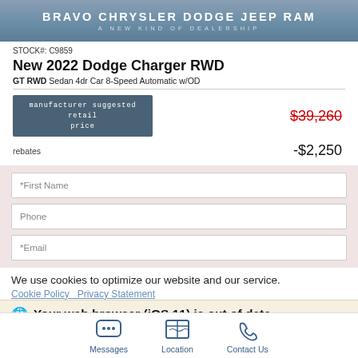[Figure (photo): Bravo Chrysler Dodge Jeep Ram dealership banner with gray-blue gradient background, white text reading 'BRAVO CHRYSLER DODGE JEEP RAM' and subtitle 'A NEW KIND OF DEALERSHIP']
STOCK#: C9859
New 2022 Dodge Charger RWD
GT RWD Sedan 4dr Car 8-Speed Automatic w/OD
| manufacturer suggested retail price | $39,260 (strikethrough) |
| rebates | -$2,250 |
[Figure (screenshot): Web form with three input fields: *First Name, Phone, *Email on a pink/rose background]
We use cookies to optimize our website and our service.
Cookie Policy   Privacy Statement
Your web browser (iOS 11) is out of date.
update your browser for more security speed and
Messages   Location   Contact Us